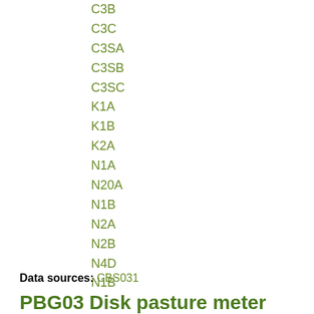C3B
C3C
C3SA
C3SB
C3SC
K1A
K1B
K2A
N1A
N20A
N1B
N2A
N2B
N4D
N1B
Data sources: CBS031
PBG03 Disk pasture meter